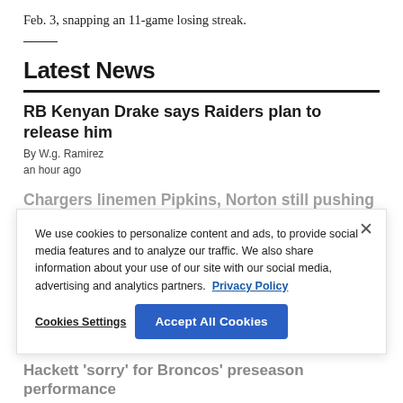Feb. 3, snapping an 11-game losing streak.
Latest News
RB Kenyan Drake says Raiders plan to release him
By W.g. Ramirez
an hour ago
Chargers linemen Pipkins, Norton still pushing to start
By W.g. Ramirez
2 hrs ago
McDaniels welcomes mentor Belichick and Patriots to Vegas
By W.g. Ramirez
2 hrs ago
We use cookies to personalize content and ads, to provide social media features and to analyze our traffic. We also share information about your use of our site with our social media, advertising and analytics partners. Privacy Policy
Hackett 'sorry' for Broncos' preseason performance